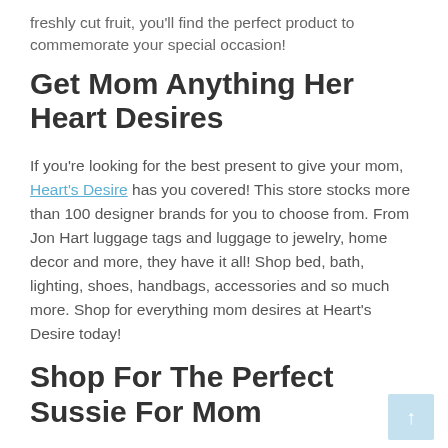freshly cut fruit, you'll find the perfect product to commemorate your special occasion!
Get Mom Anything Her Heart Desires
If you're looking for the best present to give your mom, Heart's Desire has you covered! This store stocks more than 100 designer brands for you to choose from. From Jon Hart luggage tags and luggage to jewelry, home decor and more, they have it all! Shop bed, bath, lighting, shoes, handbags, accessories and so much more. Shop for everything mom desires at Heart's Desire today!
Shop For The Perfect Sussie For Mom